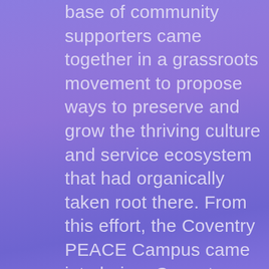base of community supporters came together in a grassroots movement to propose ways to preserve and grow the thriving culture and service ecosystem that had organically taken root there. From this effort, the Coventry PEACE Campus came into being. Coventry P.E.A.C.E., Inc. is the non-profit overseeing the maintenance, sustainability, renovation and development of the Coventry PEACE Building, which houses several local nonprofits. It is our goal to provide an accessible, sustainable, more efficient, and affordable home for these nonprofits, and to attract new organizations to the building.